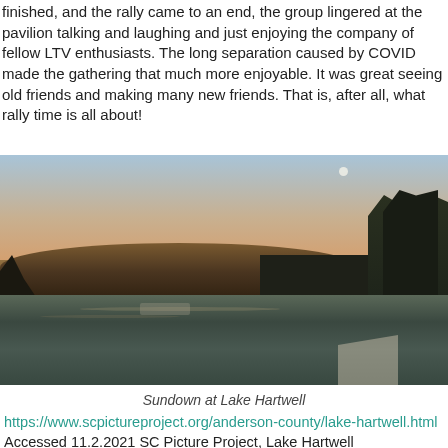finished, and the rally came to an end, the group lingered at the pavilion talking and laughing and just enjoying the company of fellow LTV enthusiasts. The long separation caused by COVID made the gathering that much more enjoyable. It was great seeing old friends and making many new friends. That is, after all, what rally time is all about!
[Figure (photo): Sunset/sundown photograph of Lake Hartwell showing calm lake water with reflected warm tones, a treeline with autumn foliage, tall dark trees on the right, a branch silhouette on the left, and a faint moon visible in the pale blue-orange sky.]
Sundown at Lake Hartwell
https://www.scpictureproject.org/anderson-county/lake-hartwell.html Accessed 11.2.2021 SC Picture Project, Lake Hartwell